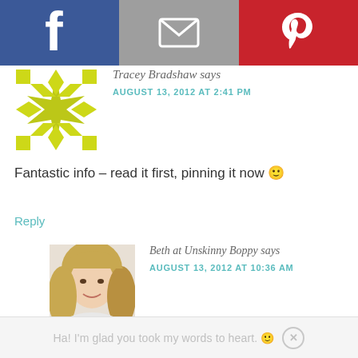[Figure (other): Social share bar with Facebook (blue), Email (grey), Pinterest (red) buttons with icons]
Tracey Bradshaw says
AUGUST 13, 2012 AT 2:41 PM
[Figure (other): Quilt/geometric pattern avatar in yellow-green]
Fantastic info – read it first, pinning it now 🙂
Reply
[Figure (photo): Photo of Beth at Unskinny Boppy, a young woman with long blonde hair]
Beth at Unskinny Boppy says
AUGUST 13, 2012 AT 10:36 AM
Ha! I'm glad you took my words to heart. 🙂